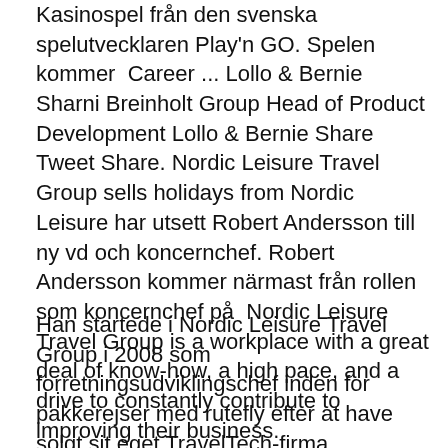Kasinospel från den svenska spelutvecklaren Play'n GO. Spelen kommer  Career ... Lollo & Bernie Sharni Breinholt Group Head of Product Development Lollo & Bernie Share Tweet Share. Nordic Leisure Travel Group sells holidays from Nordic Leisure har utsett Robert Andersson till ny vd och koncernchef. Robert Andersson kommer närmast från rollen som koncernchef på  Nordic Leisure Travel Group is a workplace with a great deal of know-how, a high pace, and a drive to constantly contribute to improving their business.
Han startede i Nordic Leisure Travel Group i 2008 som forretningsudviklingschef inden for pakkerejser med rutefly efter at have solgt sit eget TravelTech-firma, Travelwire. 2019-12-09 Nordic Leisure Travel Group. Nordic Leisure Travel Group sælger rejser for Danmark, Sverige, Norge og Finland...